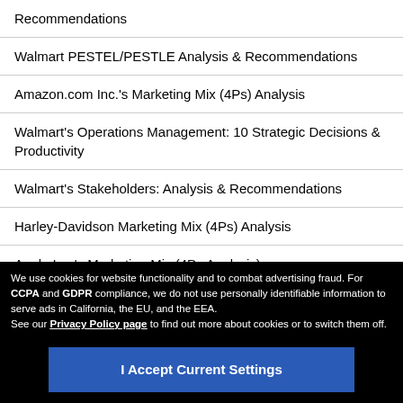Recommendations
Walmart PESTEL/PESTLE Analysis & Recommendations
Amazon.com Inc.'s Marketing Mix (4Ps) Analysis
Walmart's Operations Management: 10 Strategic Decisions & Productivity
Walmart's Stakeholders: Analysis & Recommendations
Harley-Davidson Marketing Mix (4Ps) Analysis
Apple Inc.'s Marketing Mix (4Ps Analysis)
We use cookies for website functionality and to combat advertising fraud. For CCPA and GDPR compliance, we do not use personally identifiable information to serve ads in California, the EU, and the EEA. See our Privacy Policy page to find out more about cookies or to switch them off.
I Accept Current Settings